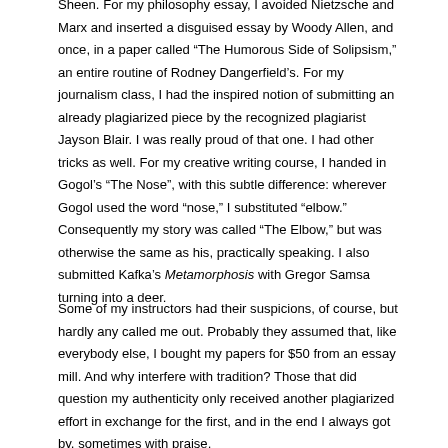Sheen. For my philosophy essay, I avoided Nietzsche and Marx and inserted a disguised essay by Woody Allen, and once, in a paper called “The Humorous Side of Solipsism,” an entire routine of Rodney Dangerfield’s. For my journalism class, I had the inspired notion of submitting an already plagiarized piece by the recognized plagiarist Jayson Blair. I was really proud of that one. I had other tricks as well. For my creative writing course, I handed in Gogol’s “The Nose”, with this subtle difference: wherever Gogol used the word “nose,” I substituted “elbow.” Consequently my story was called “The Elbow,” but was otherwise the same as his, practically speaking. I also submitted Kafka’s Metamorphosis with Gregor Samsa turning into a deer.
Some of my instructors had their suspicions, of course, but hardly any called me out. Probably they assumed that, like everybody else, I bought my papers for $50 from an essay mill. And why interfere with tradition? Those that did question my authenticity only received another plagiarized effort in exchange for the first, and in the end I always got by, sometimes with praise.